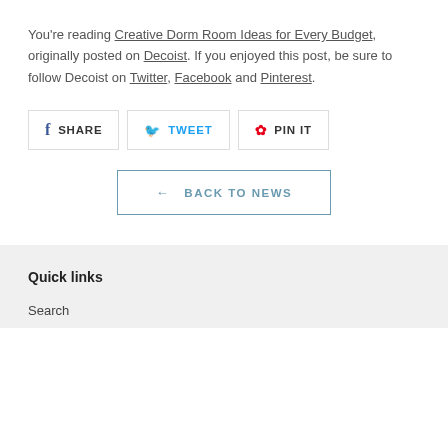You're reading Creative Dorm Room Ideas for Every Budget, originally posted on Decoist. If you enjoyed this post, be sure to follow Decoist on Twitter, Facebook and Pinterest.
[Figure (other): Social sharing buttons: SHARE (Facebook), TWEET (Twitter), PIN IT (Pinterest)]
[Figure (other): Back to News button with left arrow]
Quick links
Search